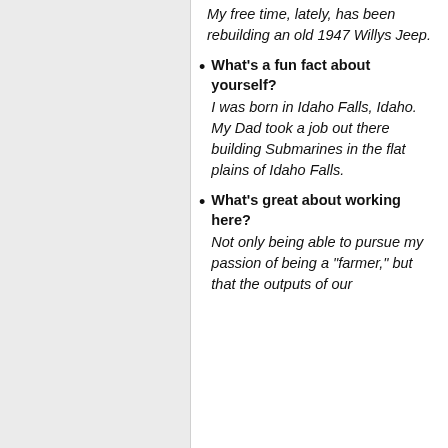My free time, lately, has been rebuilding an old 1947 Willys Jeep.
What's a fun fact about yourself? I was born in Idaho Falls, Idaho. My Dad took a job out there building Submarines in the flat plains of Idaho Falls.
What's great about working here? Not only being able to pursue my passion of being a "farmer," but that the outputs of our